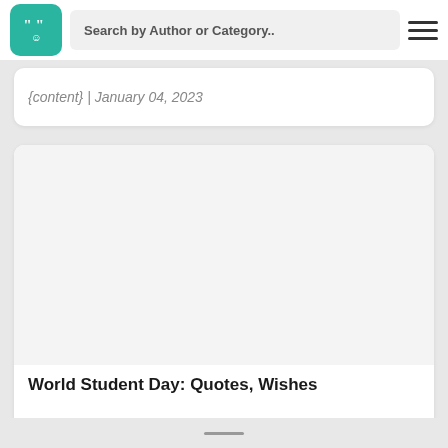Search by Author or Category..
{content} | January 04, 2023
[Figure (screenshot): Website screenshot showing a quotes website with logo, search bar, hamburger menu, and an article card titled 'World Student Day: Quotes, Wishes']
World Student Day: Quotes, Wishes